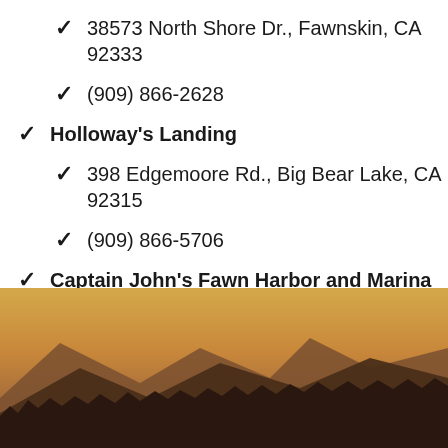38573 North Shore Dr., Fawnskin, CA 92333
(909) 866-2628
Holloway's Landing
398 Edgemoore Rd., Big Bear Lake, CA 92315
(909) 866-5706
Captain John's Fawn Harbor and Marina
39369 North Shore Dr., Fawnskin, CA 92333
(909) 866-6478
[Figure (photo): Sunset or sunrise landscape with silhouetted mountain range and treeline, warm golden-orange sky gradient.]